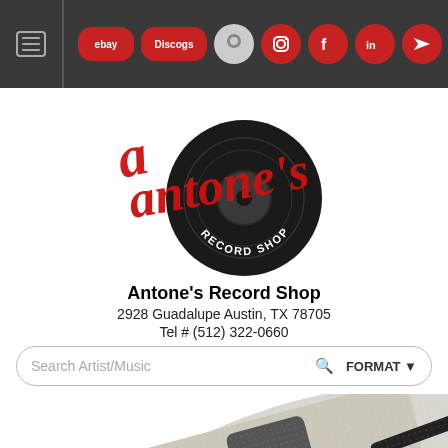Antone's Record Shop navigation bar with eBay, Discogs, Amazon and social media icons
[Figure (logo): Antone's Record Shop logo: red cursive text over a black vinyl record graphic with 'RECORD SHOP' text]
Antone's Record Shop
2928 Guadalupe Austin, TX 78705
Tel # (512) 322-0660
Search Artist/Music  FORMAT
[Figure (photo): Close-up photo of a white/grey textured guitar slide or similar music accessory with black trim, shown at an angle]